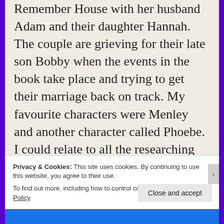Remember House with her husband Adam and their daughter Hannah. The couple are grieving for their late son Bobby when the events in the book take place and trying to get their marriage back on track. My favourite characters were Menley and another character called Phoebe. I could relate to all the researching they were doing and the whole way they were getting very interested in the research. This story deals with a very important issue as Phoebe has Alzheimer's disease and I think Higgins Clark wrote about her disease in an authentic way. I liked how she reminded us that this woman was very capable of achieving many
Privacy & Cookies: This site uses cookies. By continuing to use this website, you agree to their use.
To find out more, including how to control cookies, see here: Cookie Policy
Close and accept